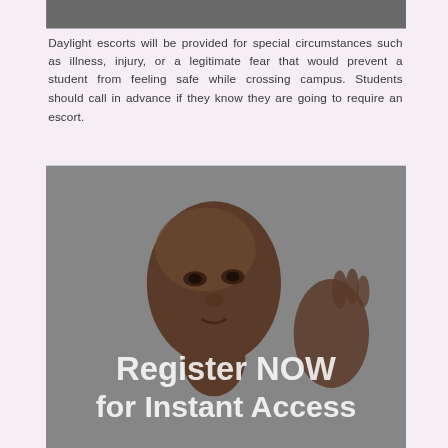[Figure (photo): Dark gray banner/header image bar at the top of the page]
Daylight escorts will be provided for special circumstances such as illness, injury, or a legitimate fear that would prevent a student from feeling safe while crossing campus. Students should call in advance if they know they are going to require an escort.
[Figure (photo): Portrait photo of a young Black woman against a gray background, with overlaid white text reading 'Register NOW for Instant Access']